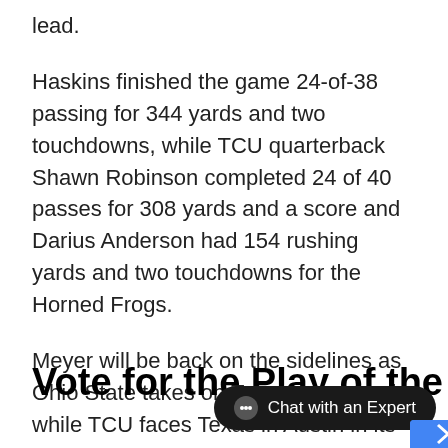lead.
Haskins finished the game 24-of-38 passing for 344 yards and two touchdowns, while TCU quarterback Shawn Robinson completed 24 of 40 passes for 308 yards and a score and Darius Anderson had 154 rushing yards and two touchdowns for the Horned Frogs.
Meyer will be back on the sidelines as Ohio State takes on Tulane next week, while TCU faces Texas in Austin in its first Big 12 conference matchup of the season.
Vote for the Play of the W…